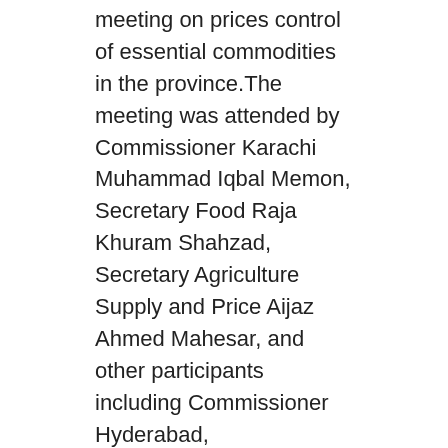meeting on prices control of essential commodities in the province.The meeting was attended by Commissioner Karachi Muhammad Iqbal Memon, Secretary Food Raja Khuram Shahzad, Secretary Agriculture Supply and Price Aijaz Ahmed Mahesar, and other participants including Commissioner Hyderabad, Commissioner Sukkur, Commissioner Shaheed Benazirabad and Commissioner Larkana through video link.
In the meeting, the divisional commissioners while briefing about the action taken in the month of May 2022 regarding price control said that 10371 shops were inspected in the month of May in the province and a fine of Rs. 34,16,200 (Thirty Four lakh, sixteen thousand two hundred rupees ) was imposed on unsatisfactory 1137 units. In Karachi